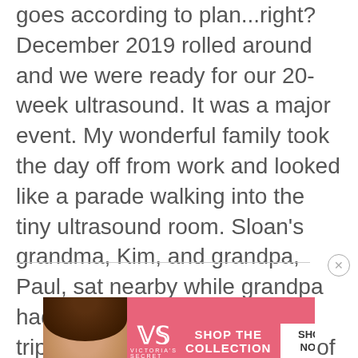goes according to plan...right? December 2019 rolled around and we were ready for our 20-week ultrasound. It was a major event. My wonderful family took the day off from work and looked like a parade walking into the tiny ultrasound room. Sloan's grandma, Kim, and grandpa, Paul, sat nearby while grandpa had his camera ready to go—tripod and all. There were lots of smiles, giggles, and sniffles. Then the energy changed about halfway through.
[Figure (other): Victoria's Secret advertisement banner with model photo, VS logo, 'SHOP THE COLLECTION' text, and 'SHOP NOW' button]